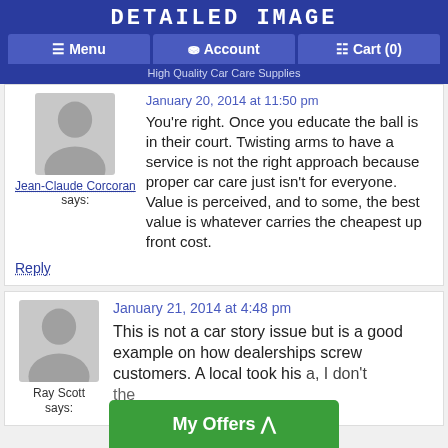DETAILED IMAGE
Menu  Account  Cart (0)
High Quality Car Care Supplies
January 20, 2014 at 11:50 pm
Jean-Claude Corcoran says:
You're right. Once you educate the ball is in their court. Twisting arms to have a service is not the right approach because proper car care just isn't for everyone. Value is perceived, and to some, the best value is whatever carries the cheapest up front cost.
Reply
January 21, 2014 at 4:48 pm
Ray Scott says:
This is not a car story issue but is a good example on how dealerships screw customers. A local took his
My Offers